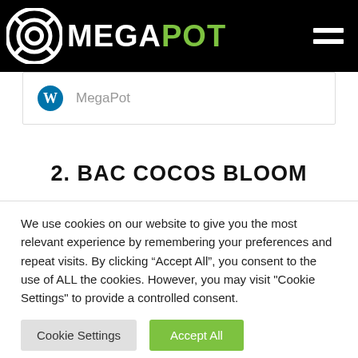MEGA POT
[Figure (logo): WordPress logo icon with MegaPot text link]
2. BAC COCOS BLOOM
We use cookies on our website to give you the most relevant experience by remembering your preferences and repeat visits. By clicking “Accept All”, you consent to the use of ALL the cookies. However, you may visit "Cookie Settings" to provide a controlled consent.
Cookie Settings | Accept All